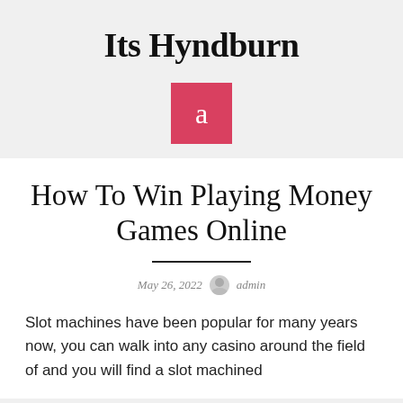Its Hyndburn
[Figure (illustration): Red square avatar icon with white letter 'a' in center]
How To Win Playing Money Games Online
May 26, 2022  admin
Slot machines have been popular for many years now, you can walk into any casino around the field of and you will find a slot machined